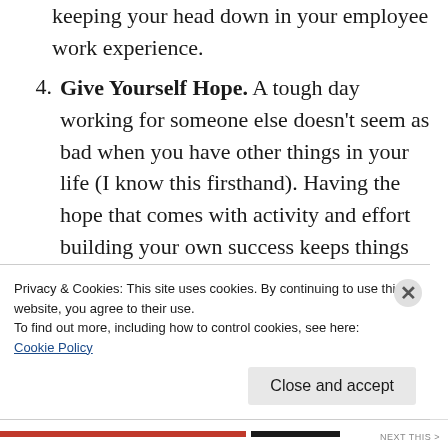keeping your head down in your employee work experience.
4. Give Yourself Hope. A tough day working for someone else doesn't seem as bad when you have other things in your life (I know this firsthand). Having the hope that comes with activity and effort building your own success keeps things in perspective and a stern look from your boss will not ruin your day.
5. Become Known for Something. Have you ever worked in a company or for a boss that
Privacy & Cookies: This site uses cookies. By continuing to use this website, you agree to their use.
To find out more, including how to control cookies, see here: Cookie Policy
Close and accept